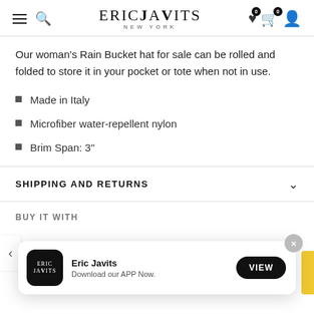ERICJAVITS NEW YORK
Our woman's Rain Bucket hat for sale can be rolled and folded to store it in your pocket or tote when not in use.
Made in Italy
Microfiber water-repellent nylon
Brim Span: 3"
SHIPPING AND RETURNS
BUY IT WITH
[Figure (screenshot): Eric Javits app download banner with app icon, name, tagline 'Download our APP Now.' and VIEW button, plus close X button]